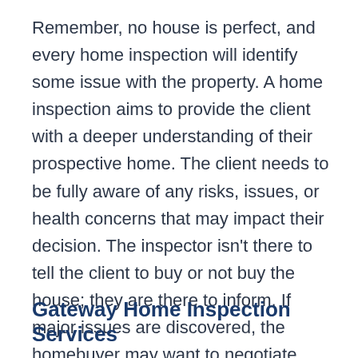Remember, no house is perfect, and every home inspection will identify some issue with the property. A home inspection aims to provide the client with a deeper understanding of their prospective home. The client needs to be fully aware of any risks, issues, or health concerns that may impact their decision. The inspector isn't there to tell the client to buy or not buy the house; they are there to inform. If major issues are discovered, the homebuyer may want to negotiate with the seller to make repairs or cover their costs.
Gateway Home Inspection Services